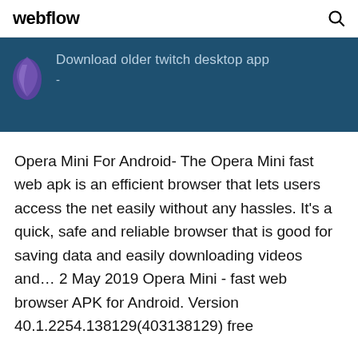webflow
[Figure (screenshot): Banner with blue background showing a Twitch-like purple flame icon and text 'Download older twitch desktop app' with a dash below]
Opera Mini For Android- The Opera Mini fast web apk is an efficient browser that lets users access the net easily without any hassles. It's a quick, safe and reliable browser that is good for saving data and easily downloading videos and… 2 May 2019 Opera Mini - fast web browser APK for Android. Version 40.1.2254.138129(403138129) free